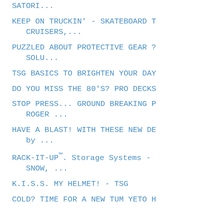SATORI...
KEEP ON TRUCKIN' - SKATEBOARD T
   CRUISERS,...
PUZZLED ABOUT PROTECTIVE GEAR ?
   SOLU...
TSG BASICS TO BRIGHTEN YOUR DAY
DO YOU MISS THE 80'S? PRO DECKS
STOP PRESS... GROUND BREAKING P
   ROGER ...
HAVE A BLAST! WITH THESE NEW DE
   by ...
RACK-IT-UP™. Storage Systems -
   SNOW, ...
K.I.S.S. MY HELMET! - TSG
COLD? TIME FOR A NEW TUM YETO H